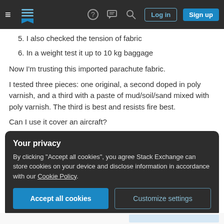Stack Exchange navigation bar with hamburger menu, logo, help, chat, search icons, Log in and Sign up buttons
5. I also checked the tension of fabric
6. In a weight test it up to 10 kg baggage
Now I'm trusting this imported parachute fabric.
I tested three pieces: one original, a second doped in poly varnish, and a third with a paste of mud/soil/sand mixed with poly varnish. The third is best and resists fire best.
Can I use it cover an aircraft?
Your privacy
By clicking "Accept all cookies", you agree Stack Exchange can store cookies on your device and disclose information in accordance with our Cookie Policy.
Accept all cookies | Customize settings